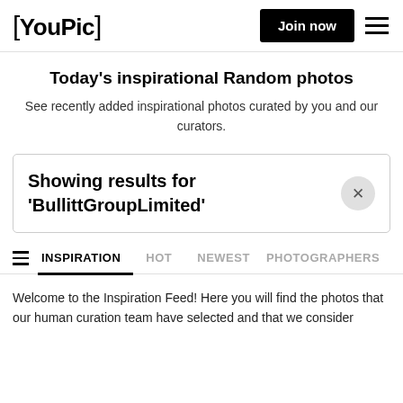[YouPic]  Join now  ≡
Today's inspirational Random photos
See recently added inspirational photos curated by you and our curators.
Showing results for 'BullittGroupLimited'
INSPIRATION  HOT  NEWEST  PHOTOGRAPHERS
Welcome to the Inspiration Feed! Here you will find the photos that our human curation team have selected and that we consider